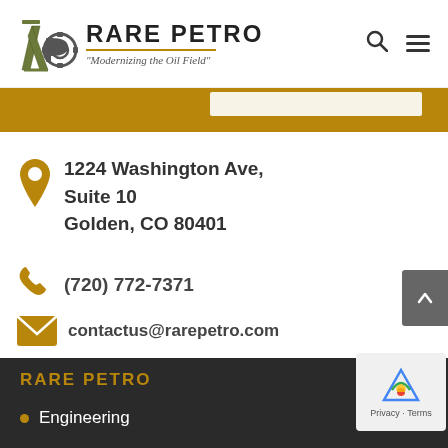[Figure (logo): Rare Petro logo with R and P interlock, gear wheel, oil derrick icon and text 'RARE PETRO - Modernizing the Oil Field']
1224 Washington Ave, Suite 10 Golden, CO 80401
(720) 772-7371
contactus@rarepetro.com
RARE PETRO
Engineering